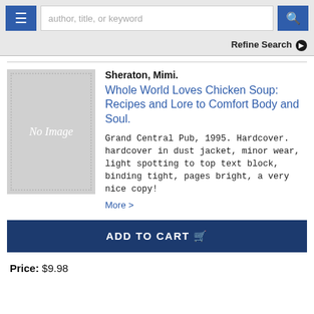author, title, or keyword
Refine Search
Sheraton, Mimi. Whole World Loves Chicken Soup: Recipes and Lore to Comfort Body and Soul.
Grand Central Pub, 1995. Hardcover. hardcover in dust jacket, minor wear, light spotting to top text block, binding tight, pages bright, a very nice copy!
More >
ADD TO CART
Price: $9.98